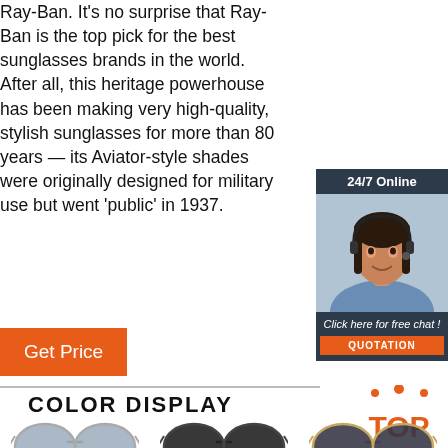Ray-Ban. It's no surprise that Ray-Ban is the top pick for the best sunglasses brands in the world. After all, this heritage powerhouse has been making very high-quality, stylish sunglasses for more than 80 years — its Aviator-style shades were originally designed for military use but went 'public' in 1937.
[Figure (photo): Customer service representative with headset, smiling. Widget with '24/7 Online' header, 'Click here for free chat!' text, and orange QUOTATION button.]
[Figure (other): Orange 'Get Price' button]
COLOR DISPLAY
[Figure (logo): Orange TOP logo with dots above letters]
[Figure (photo): Three pairs of aviator sunglasses shown in a row at the bottom]